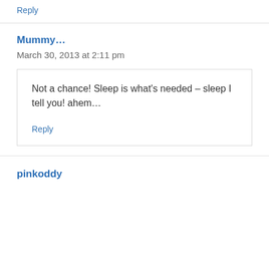Reply
Mummy...
March 30, 2013 at 2:11 pm
Not a chance! Sleep is what's needed – sleep I tell you! ahem…
Reply
pinkoddy